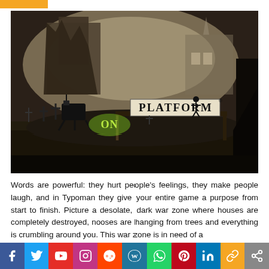[Figure (screenshot): Dark, atmospheric game screenshot from Typoman showing a desolate war-zone environment with ruins, crosses/gravestones, a platform sign reading 'PLATFORM' in large letters, a glowing green 'ON' text on the ground, silhouetted structures and a stick-figure character, foggy background with destroyed buildings and a Gothic-style structure.]
Words are powerful: they hurt people's feelings, they make people laugh, and in Typoman they give your entire game a purpose from start to finish. Picture a desolate, dark war zone where houses are completely destroyed, nooses are hanging from trees and everything is crumbling around you. This war zone is in need of a
Social share bar: Facebook, Twitter, YouTube, Instagram, Reddit, WordPress, WhatsApp, Pinterest, LinkedIn, Copy, Share